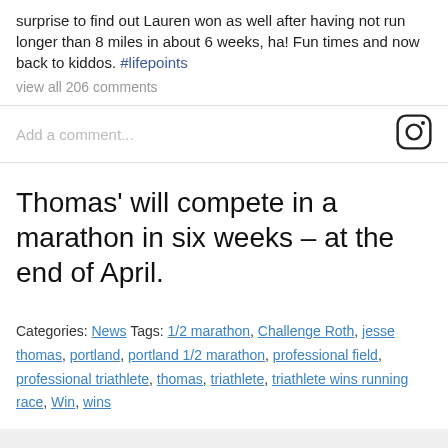surprise to find out Lauren won as well after having not run longer than 8 miles in about 6 weeks, ha! Fun times and now back to kiddos. #lifepoints
view all 206 comments
Add a comment...
Thomas' will compete in a marathon in six weeks – at the end of April.
Categories: News Tags: 1/2 marathon, Challenge Roth, jesse thomas, portland, portland 1/2 marathon, professional field, professional triathlete, thomas, triathlete, triathlete wins running race, Win, wins
[Figure (photo): Partial view of a person in athletic wear sitting on grass, visible from waist down]